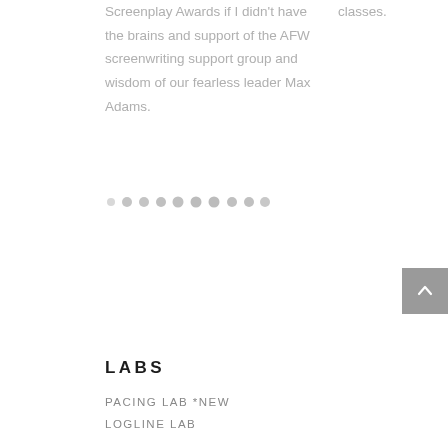Screenplay Awards if I didn't have the brains and support of the AFW screenwriting support group and wisdom of our fearless leader Max Adams.
classes.
[Figure (other): A row of circular dots/pagination indicators, varying in size and shade of grey]
[Figure (other): Scroll-to-top button, grey square with upward chevron arrow]
LABS
PACING LAB *NEW
LOGLINE LAB